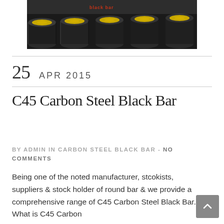[Figure (photo): Photograph of multiple black carbon steel round bars stacked together, with yellow-painted ends visible. Red text 'black bar' overlaid at top.]
25   APR 2015
C45 Carbon Steel Black Bar
BY ADMIN IN CARBON STEEL BLACK BAR - NO COMMENTS
Being one of the noted manufacturer, stcokists, suppliers & stock holder of round bar & we provide a comprehensive range of C45 Carbon Steel Black Bar. What is C45 Carbon